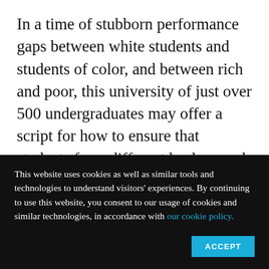In a time of stubborn performance gaps between white students and students of color, and between rich and poor, this university of just over 500 undergraduates may offer a script for how to ensure that students from different backgrounds graduate at similar rates. It's also posting these results in a field that sinks the ambitions and GPAs of many students elsewhere – health sciences. The university offers just two bachelor's degrees – in health
This website uses cookies as well as similar tools and technologies to understand visitors' experiences. By continuing to use this website, you consent to our usage of cookies and similar technologies, in accordance with our cookie policy.